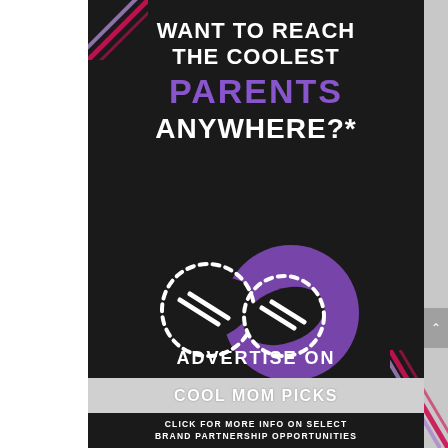[Figure (infographic): Advertisement graphic for Cool Mom Picks. Dark background with diagonal colored lines in top-left and bottom-right corners. White headline text reading 'WANT TO REACH THE COOLEST', purple text 'PARENTS', white text 'ANYWHERE?*'. Illustration of two interlocking gear shapes with dashed borders on a purple circle. Text 'ADVERTISE ON' above a light gray band reading 'COOL MOM PICKS'. Bottom dark bar: 'CLICK FOR MORE INFO ON SELECT BRAND PARTNERSHIP OPPORTUNITIES'.]